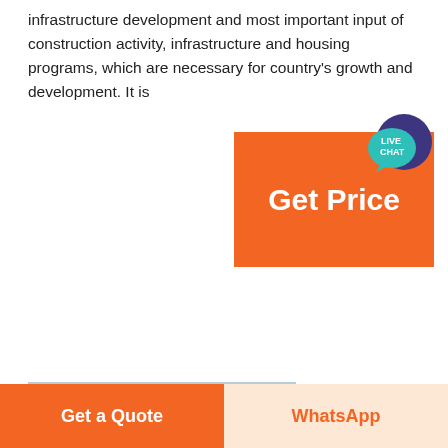infrastructure development and most important input of construction activity, infrastructure and housing programs, which are necessary for country's growth and development. It is
[Figure (infographic): Orange button with white text 'Get Price' and a teal circular badge with 'LIVE CHAT' text and speech bubble icon]
[Figure (photo): Industrial cement plant facility with CGM logo, conveyor belts, processing machinery, and rocky hill in background]
Cement Industry Specialty chemical solutions for various
The cement
Get a Quote | WhatsApp